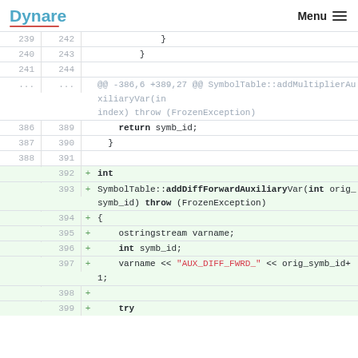Dynare   Menu
[Figure (screenshot): Code diff view showing lines 239-399 of a C++ source file with additions for SymbolTable::addDiffForwardAuxiliaryVar function]